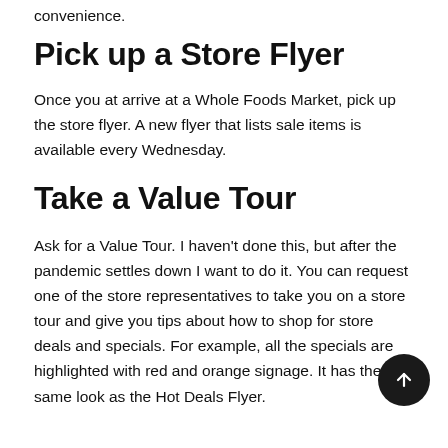convenience.
Pick up a Store Flyer
Once you at arrive at a Whole Foods Market, pick up the store flyer. A new flyer that lists sale items is available every Wednesday.
Take a Value Tour
Ask for a Value Tour. I haven't done this, but after the pandemic settles down I want to do it. You can request one of the store representatives to take you on a store tour and give you tips about how to shop for store deals and specials. For example, all the specials are highlighted with red and orange signage. It has the same look as the Hot Deals Flyer.